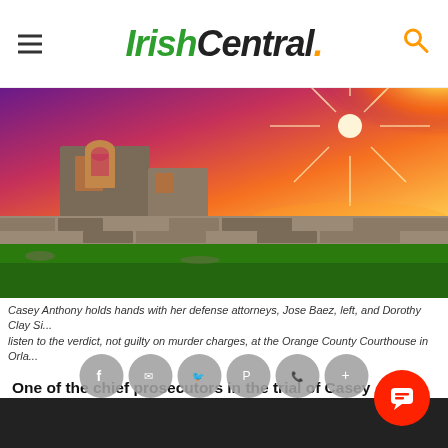IrishCentral.
[Figure (photo): Sunset over Irish stone ruins with dramatic orange and purple sky, green grass in foreground, stone wall running across mid-ground]
Casey Anthony holds hands with her defense attorneys, Jose Baez, left, and Dorothy Clay Si... listen to the verdict, not guilty on murder charges, at the Orange County Courthouse in Orla...
One of the chief prosecutors in the trial of Casey Anthony has w... book about the murder trial, which is due to hit book shelves in November.
Jeff Ashton, a ve... ar si... t t... to... y has co... d to Orlando Sentinel that he has written a book entitle... ect...